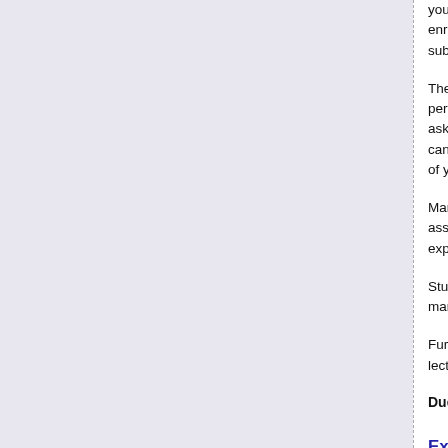your tutor in... enrolled on... submission...
The actual performance... asked to de... can also ex... of your ass...
Marks will n... assignment... explain or n...
Students w... marks for th...
Further det... lecture and...
Due date: Thursday 1
Examinations